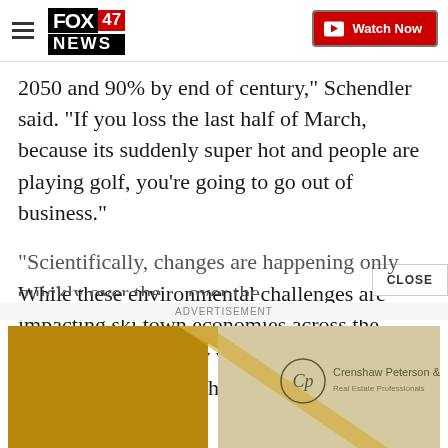FOX 47 NEWS — Watch Now
2050 and 90% by end of century,” Schendler said. “If you loss the last half of March, because its suddenly super hot and people are playing golf, you’re going to go out of business.”
While these environmental challenges are impacting ski town economies across the country, scientists say warming weather is also hurting people who never even hit the slopes.
“Scientifically, changes are happening only quickly over the…
[Figure (other): Advertisement banner for Crenshaw Peterson & Associates with gold and beige color scheme]